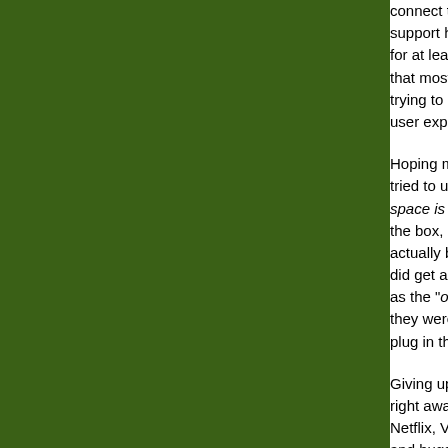support had me resting for at least 30 minutes, that most companies trying to diagnose a user experience.
Hoping my WiFi issues tried to update the space is not enough the box, I'm not sure actually broke out to did get a good laugh as the "on-screen s they were saying, but plug in the power s
Giving up on trying right away. Since th Netflix, Vudu, YouT and buggy. Netflix compared with the they have released Netflix, but they do update.